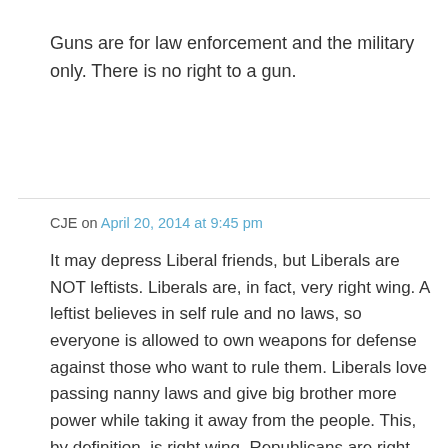Guns are for law enforcement and the military only. There is no right to a gun.
CJE on April 20, 2014 at 9:45 pm
It may depress Liberal friends, but Liberals are NOT leftists. Liberals are, in fact, very right wing. A leftist believes in self rule and no laws, so everyone is allowed to own weapons for defense against those who want to rule them. Liberals love passing nanny laws and give big brother more power while taking it away from the people. This, by definition, is right wing. Republicans are right wing as well. We have no leftist party in the US.